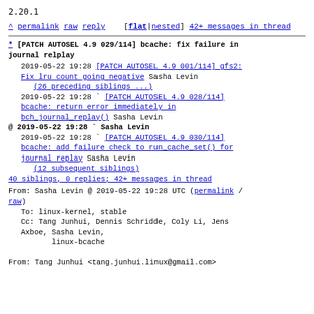2.20.1
^ permalink raw reply [flat|nested] 42+ messages in thread
* [PATCH AUTOSEL 4.9 029/114] bcache: fix failure in journal relplay
  2019-05-22 19:28 [PATCH AUTOSEL 4.9 001/114] gfs2: Fix lru count going negative Sasha Levin
                   (26 preceding siblings ...)
  2019-05-22 19:28 ` [PATCH AUTOSEL 4.9 028/114] bcache: return error immediately in bch_journal_replay() Sasha Levin
@ 2019-05-22 19:28 ` Sasha Levin
  2019-05-22 19:28 ` [PATCH AUTOSEL 4.9 030/114] bcache: add failure check to run_cache_set() for journal replay Sasha Levin
                     (12 subsequent siblings)
  40 siblings, 0 replies; 42+ messages in thread
From: Sasha Levin @ 2019-05-22 19:28 UTC (permalink / raw)
  To: linux-kernel, stable
  Cc: Tang Junhui, Dennis Schridde, Coly Li, Jens Axboe, Sasha Levin,
        linux-bcache

From: Tang Junhui <tang.junhui.linux@gmail.com>